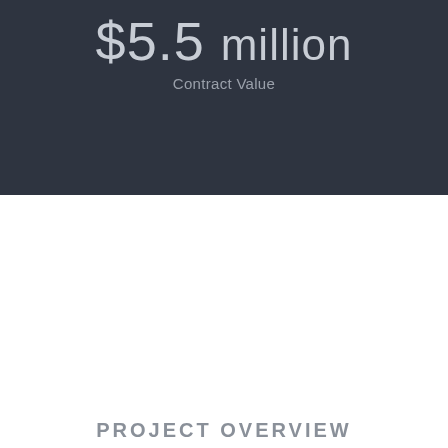$5.5 million
Contract Value
PROJECT OVERVIEW